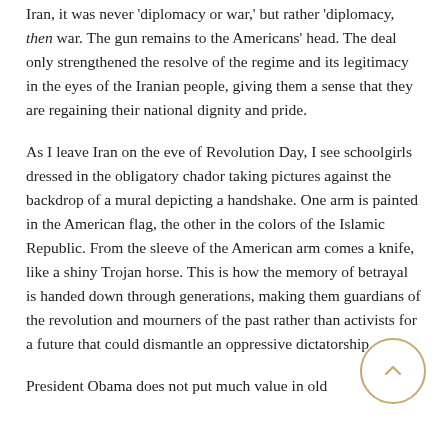Iran, it was never 'diplomacy or war,' but rather 'diplomacy, then war. The gun remains to the Americans' head. The deal only strengthened the resolve of the regime and its legitimacy in the eyes of the Iranian people, giving them a sense that they are regaining their national dignity and pride.
As I leave Iran on the eve of Revolution Day, I see schoolgirls dressed in the obligatory chador taking pictures against the backdrop of a mural depicting a handshake. One arm is painted in the American flag, the other in the colors of the Islamic Republic. From the sleeve of the American arm comes a knife, like a shiny Trojan horse. This is how the memory of betrayal is handed down through generations, making them guardians of the revolution and mourners of the past rather than activists for a future that could dismantle an oppressive dictatorship.
President Obama does not put much value in old